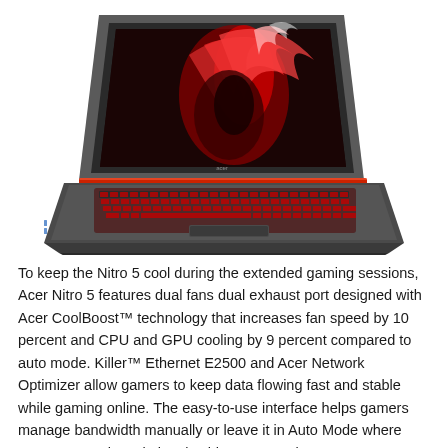[Figure (photo): Acer Nitro 5 gaming laptop shown from a three-quarter front angle. The laptop lid is open displaying a red splash/dragon artwork on the screen. The keyboard has red backlighting. The chassis is dark gray/gunmetal. A red hinge accent is visible between the lid and body.]
To keep the Nitro 5 cool during the extended gaming sessions, Acer Nitro 5 features dual fans dual exhaust port designed with Acer CoolBoost™ technology that increases fan speed by 10 percent and CPU and GPU cooling by 9 percent compared to auto mode. Killer™ Ethernet E2500 and Acer Network Optimizer allow gamers to keep data flowing fast and stable while gaming online. The easy-to-use interface helps gamers manage bandwidth manually or leave it in Auto Mode where Acer's Network Optimizer is able to categorize